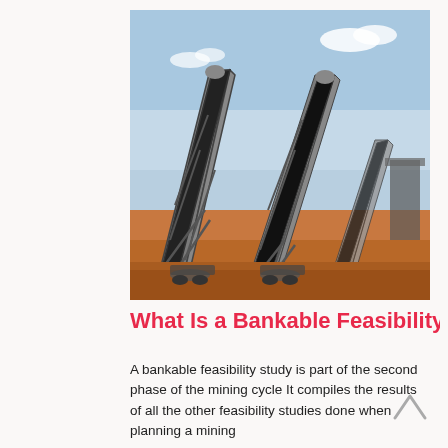[Figure (photo): Industrial conveyor belt system at a mining site, with large steel frame structures supporting inclined conveyor belts. Sandy ground visible at base, blue sky with clouds in background.]
What Is a Bankable Feasibility Stu
A bankable feasibility study is part of the second phase of the mining cycle It compiles the results of all the other feasibility studies done when planning a mining